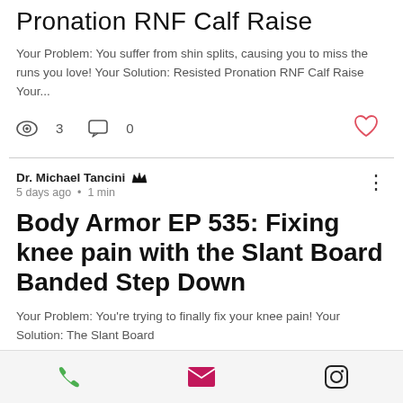Pronation RNF Calf Raise
Your Problem: You suffer from shin splits, causing you to miss the runs you love! Your Solution: Resisted Pronation RNF Calf Raise Your...
Views: 3  Comments: 0
Dr. Michael Tancini  5 days ago • 1 min
Body Armor EP 535: Fixing knee pain with the Slant Board Banded Step Down
Your Problem: You're trying to finally fix your knee pain! Your Solution: The Slant Board Banded Step Down...